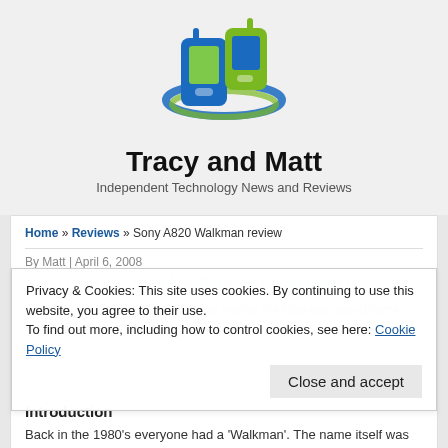[Figure (logo): Tracy and Matt website logo: two stylized mobile phone icons (one blue, one green) with a blue elliptical swoosh, forming an abstract design]
Tracy and Matt
Independent Technology News and Reviews
Home » Reviews » Sony A820 Walkman review
By Matt | April 6, 2008
Sony A820 Walkman review
Can the new Sony A820 MP3 player restore the Walkman brand name to its former glory?
Privacy & Cookies: This site uses cookies. By continuing to use this website, you agree to their use. To find out more, including how to control cookies, see here: Cookie Policy
Close and accept
Introduction
Back in the 1980's everyone had a 'Walkman'. The name itself was